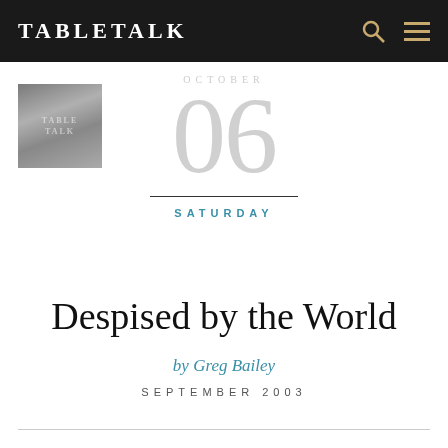TABLETALK
[Figure (photo): Small thumbnail image of a TableTalk magazine cover in grayscale]
06
SATURDAY
Despised by the World
by Greg Bailey
SEPTEMBER 2003